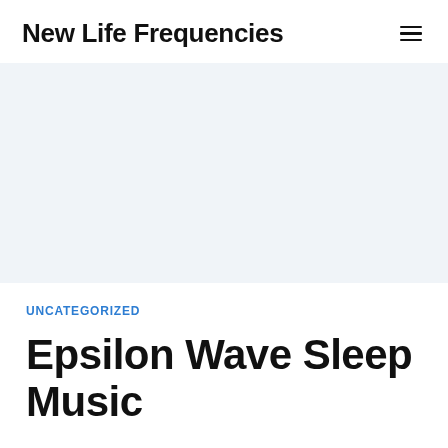New Life Frequencies
[Figure (other): Light blue-grey banner/advertisement area]
UNCATEGORIZED
Epsilon Wave Sleep Music